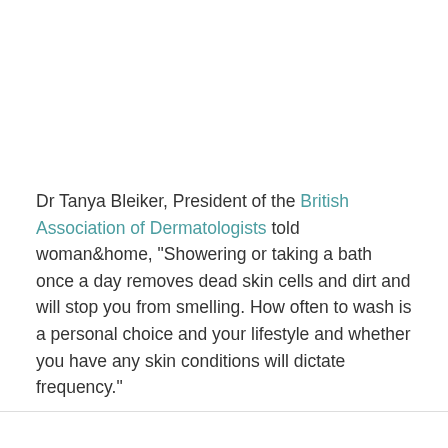Dr Tanya Bleiker, President of the British Association of Dermatologists told woman&home, "Showering or taking a bath once a day removes dead skin cells and dirt and will stop you from smelling. How often to wash is a personal choice and your lifestyle and whether you have any skin conditions will dictate frequency."